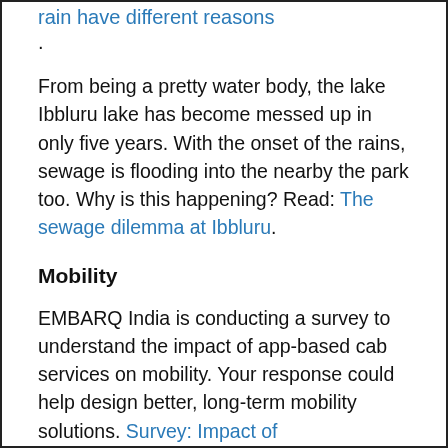rain have different reasons.
From being a pretty water body, the lake Ibbluru lake has become messed up in only five years. With the onset of the rains, sewage is flooding into the nearby the park too. Why is this happening? Read: The sewage dilemma at Ibbluru.
Mobility
EMBARQ India is conducting a survey to understand the impact of app-based cab services on mobility. Your response could help design better, long-term mobility solutions. Survey: Impact of